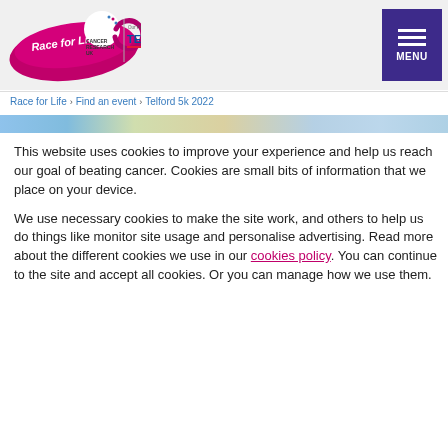[Figure (logo): Race for Life logo with Cancer Research UK branding ribbon, Our Partner Tesco logo, and purple MENU button in header]
Race for Life › Find an event › Telford 5k 2022
This website uses cookies to improve your experience and help us reach our goal of beating cancer. Cookies are small bits of information that we place on your device.
We use necessary cookies to make the site work, and others to help us do things like monitor site usage and personalise advertising. Read more about the different cookies we use in our cookies policy. You can continue to the site and accept all cookies. Or you can manage how we use them.